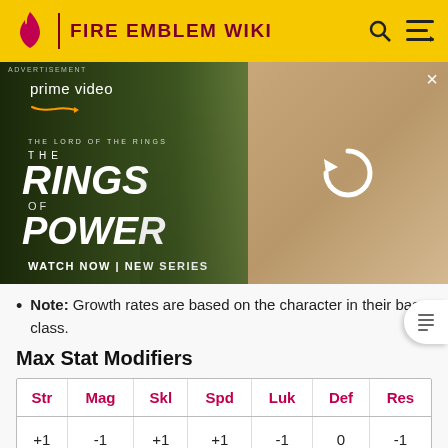FIRE EMBLEM WIKI
[Figure (screenshot): Amazon Prime Video advertisement for 'The Lord of the Rings: The Rings of Power' - WATCH NOW | NEW SERIES]
Note: Growth rates are based on the character in their base class.
Max Stat Modifiers
| Str | Mag | Skl | Spd | Luk | Def | Res |
| --- | --- | --- | --- | --- | --- | --- |
| +1 | -1 | +1 | +1 | -1 | 0 | -1 |
Class Sets